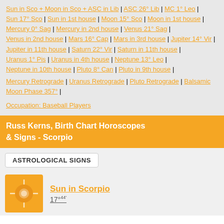Sun in Sco + Moon in Sco + ASC in Lib | ASC 26° Lib | MC 1° Leo | Sun 17° Sco | Sun in 1st house | Moon 15° Sco | Moon in 1st house | Mercury 0° Sag | Mercury in 2nd house | Venus 21° Sag | Venus in 2nd house | Mars 16° Cap | Mars in 3rd house | Jupiter 14° Vir | Jupiter in 11th house | Saturn 22° Vir | Saturn in 11th house | Uranus 1° Pis | Uranus in 4th house | Neptune 13° Leo | Neptune in 10th house | Pluto 8° Can | Pluto in 9th house | Mercury Retrograde | Uranus Retrograde | Pluto Retrograde | Balsamic Moon Phase 357° |
Occupation: Baseball Players
Russ Kerns, Birth Chart Horoscopes & Signs - Scorpio
ASTROLOGICAL SIGNS
Sun in Scorpio 17°44'